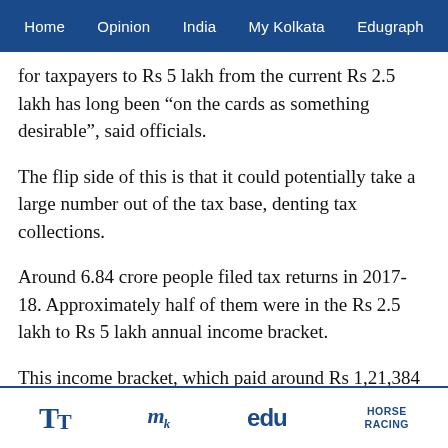Home   Opinion   India   My Kolkata   Edugraph
for taxpayers to Rs 5 lakh from the current Rs 2.5 lakh has long been “on the cards as something desirable”, said officials.
The flip side of this is that it could potentially take a large number out of the tax base, denting tax collections.
Around 6.84 crore people filed tax returns in 2017-18. Approximately half of them were in the Rs 2.5 lakh to Rs 5 lakh annual income bracket.
This income bracket, which paid around Rs 1,21,384 crore in income tax in 2017-18, is usually taken to represent the lower middle class of India.
TT   My   edu   HORSE RACING